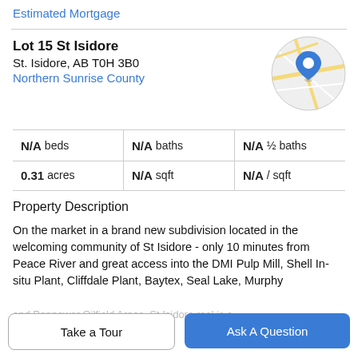Estimated Mortgage
Lot 15 St Isidore
St. Isidore, AB T0H 3B0
Northern Sunrise County
[Figure (map): Circular map thumbnail showing street map with a blue location pin marker in the center]
N/A beds | N/A baths | N/A ½ baths
0.31 acres | N/A sqft | N/A / sqft
Property Description
On the market in a brand new subdivision located in the welcoming community of St Isidore - only 10 minutes from Peace River and great access into the DMI Pulp Mill, Shell In-situ Plant, Cliffdale Plant, Baytex, Seal Lake, Murphy
and Penpower Oilfield Areas. St Isidore real is a
Take a Tour
Ask A Question